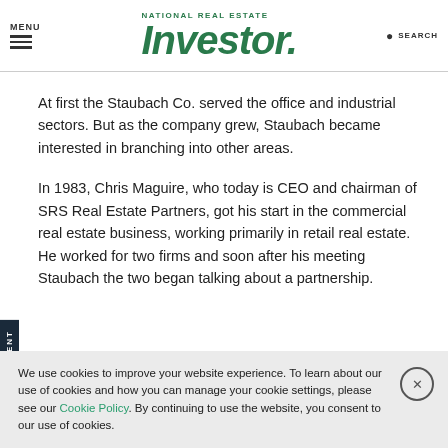MENU | National Real Estate Investor | SEARCH
At first the Staubach Co. served the office and industrial sectors. But as the company grew, Staubach became interested in branching into other areas.
In 1983, Chris Maguire, who today is CEO and chairman of SRS Real Estate Partners, got his start in the commercial real estate business, working primarily in retail real estate. He worked for two firms and soon after his meeting Staubach the two began talking about a partnership.
We use cookies to improve your website experience. To learn about our use of cookies and how you can manage your cookie settings, please see our Cookie Policy. By continuing to use the website, you consent to our use of cookies.